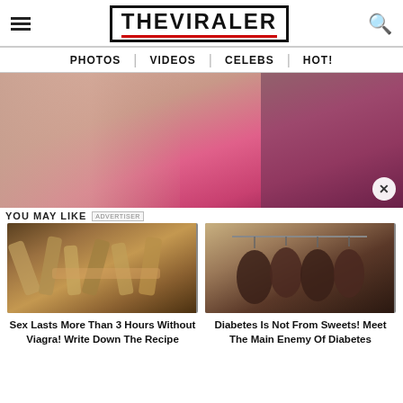THE VIRALER
PHOTOS | VIDEOS | CELEBS | HOT!
[Figure (photo): Woman in pink strapless dress, cropped torso shot]
YOU MAY LIKE
[Figure (photo): Close-up of bamboo shoots or similar food ingredients]
Sex Lasts More Than 3 Hours Without Viagra! Write Down The Recipe
[Figure (photo): Dried food items hanging on a string]
Diabetes Is Not From Sweets! Meet The Main Enemy Of Diabetes